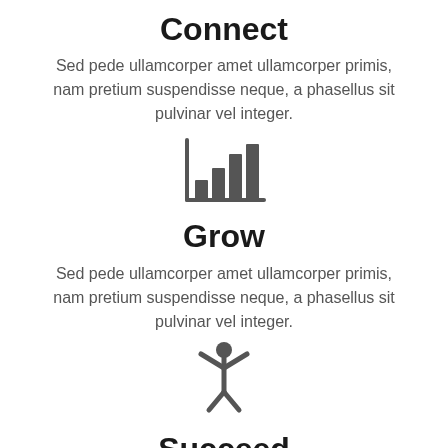Connect
Sed pede ullamcorper amet ullamcorper primis, nam pretium suspendisse neque, a phasellus sit pulvinar vel integer.
[Figure (illustration): Bar chart icon showing ascending bars with a baseline axis, dark gray color]
Grow
Sed pede ullamcorper amet ullamcorper primis, nam pretium suspendisse neque, a phasellus sit pulvinar vel integer.
[Figure (illustration): Person icon with arms raised in a success/celebration pose, dark gray color]
Succeed
Sed pede ullamcorper amet ullamcorper primis,